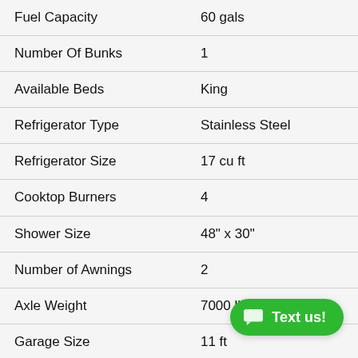| Feature | Value |
| --- | --- |
| Fuel Capacity | 60 gals |
| Number Of Bunks | 1 |
| Available Beds | King |
| Refrigerator Type | Stainless Steel |
| Refrigerator Size | 17 cu ft |
| Cooktop Burners | 4 |
| Shower Size | 48" x 30" |
| Number of Awnings | 2 |
| Axle Weight | 7000 lbs |
| Garage Size | 11 ft |
| TV Info | LR 50" Smart TV, BR 12V TV, Garage 12V TV |
| Axle Count | 2 |